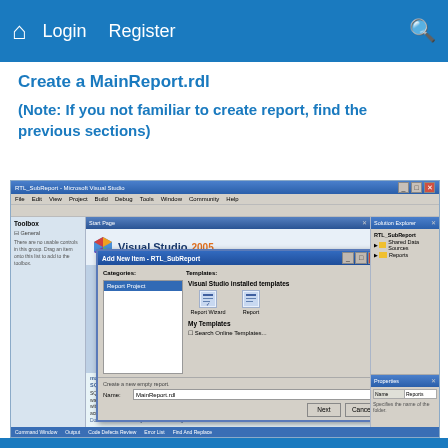Login   Register
Create a MainReport.rdl
(Note: If you not familiar to create report, find the previous sections)
[Figure (screenshot): Microsoft Visual Studio 2005 IDE screenshot showing the 'Add New Item' dialog open over the Start Page. The dialog shows Categories (Report Project selected) and Templates panels, with 'Report' and 'Report Wizard' template options visible. At the bottom, a Name field shows 'MainReport.rdl' with 'Next' and 'Cancel' buttons.]